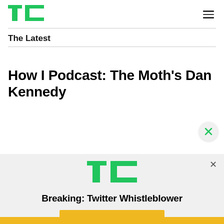[Figure (logo): TechCrunch logo — green TC lettermark]
[Figure (illustration): Hamburger menu icon (three horizontal lines)]
The Latest
How I Podcast: The Moth's Dan Kennedy
[Figure (logo): TechCrunch TC logo in advertisement overlay]
Breaking: Twitter Whistleblower
[Figure (illustration): READ NOW button in gold/yellow color]
[Figure (illustration): Close X button on advertisement]